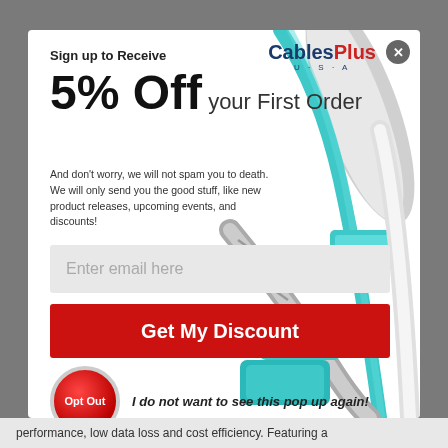Sign up to Receive
5% Off your First Order
And don't worry, we will not spam you to death. We will only send you the good stuff, like new product releases, upcoming events, and discounts!
Enter email here
Get My Discount
Opt Out
I do not want to see this pop up again!
performance, low data loss and cost efficiency. Featuring a